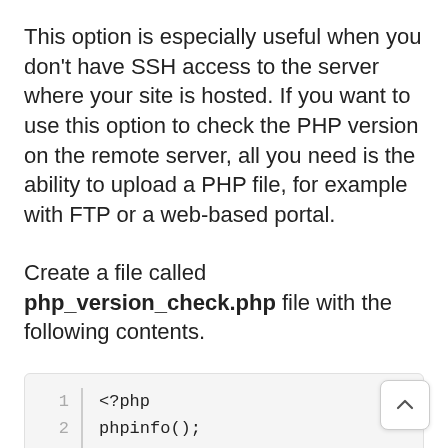This option is especially useful when you don't have SSH access to the server where your site is hosted. If you want to use this option to check the PHP version on the remote server, all you need is the ability to upload a PHP file, for example with FTP or a web-based portal.
Create a file called php_version_check.php file with the following contents.
[Figure (screenshot): Code block showing PHP file contents with line numbers 1, 2, 3 and code: <?php / phpinfo(); / ?>]
Upload this file to the root directory of yo site. Once you've done that, you should be